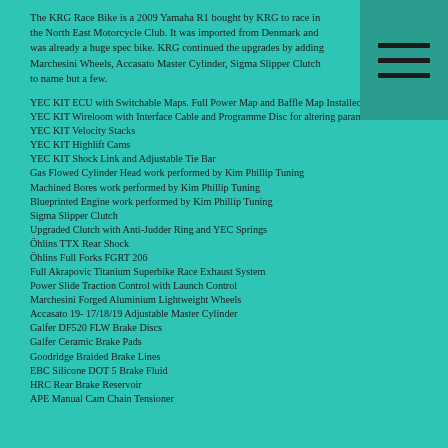The KRG Race Bike is a 2009 Yamaha R1 bought by KRG to race in the North East Motorcycle Club. It was imported from Denmark and was already a huge spec bike. KRG continued the upgrades by adding Marchesini Wheels, Accasato Master Cylinder, Sigma Slipper Clutch to name but a few.
YEC KIT ECU with Switchable Maps. Full Power Map and Baffle Map Installed
YEC KIT Wireloom with Interface Cable and Programme Disc for altering parameters
YEC KIT Velocity Stacks
YEC KIT Highlift Cams
YEC KIT Shock Link and Adjustable Tie Bar
Gas Flowed Cylinder Head work performed by Kim Phillip Tuning
Machined Bores work performed by Kim Phillip Tuning
Blueprinted Engine work performed by Kim Phillip Tuning
Sigma Slipper Clutch
Upgraded Clutch with Anti-Judder Ring and YEC Springs
Öhlins TTX Rear Shock
Öhlins Full Forks FGRT 206
Full Akrapovic Titanium Superbike Race Exhaust System
Power Slide Traction Control with Launch Control
Marchesini Forged Aluminium Lightweight Wheels
Accasato 19- 17/18/19 Adjustable Master Cylinder
Galfer DF520 FLW Brake Discs
Galfer Ceramic Brake Pads
Goodridge Braided Brake Lines
EBC Silicone DOT 5 Brake Fluid
HRC Rear Brake Reservoir
APE Manual Cam Chain Tensioner